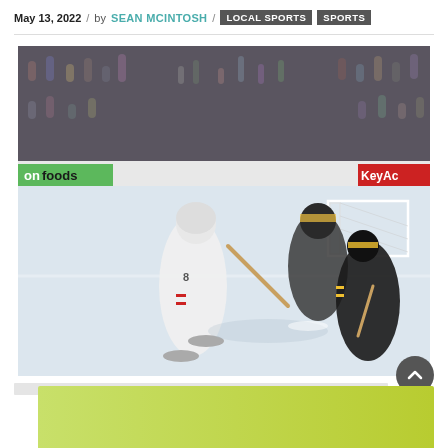May 13, 2022 / by SEAN MCINTOSH / LOCAL SPORTS SPORTS
[Figure (photo): Hockey action photo: a player in white uniform attacking the net against a goalie and a defender in black and gold uniforms, inside an arena with crowd in background. Rinkside advertising boards visible including 'on foods' and 'KeyA' logos.]
Red Deer Bulls Head Down After Near Li...